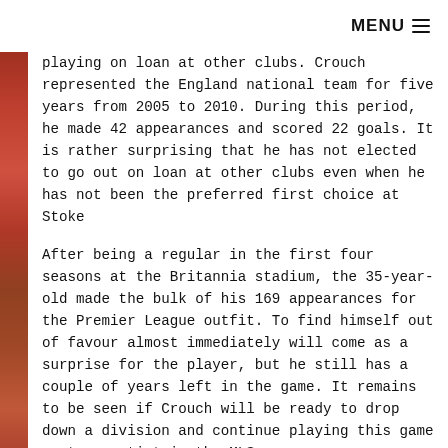MENU
playing on loan at other clubs. Crouch represented the England national team for five years from 2005 to 2010. During this period, he made 42 appearances and scored 22 goals. It is rather surprising that he has not elected to go out on loan at other clubs even when he has not been the preferred first choice at Stoke
After being a regular in the first four seasons at the Britannia stadium, the 35-year-old made the bulk of his 169 appearances for the Premier League outfit. To find himself out of favour almost immediately will come as a surprise for the player, but he still has a couple of years left in the game. It remains to be seen if Crouch will be ready to drop down a division and continue playing this game or try a stint in the MLS.